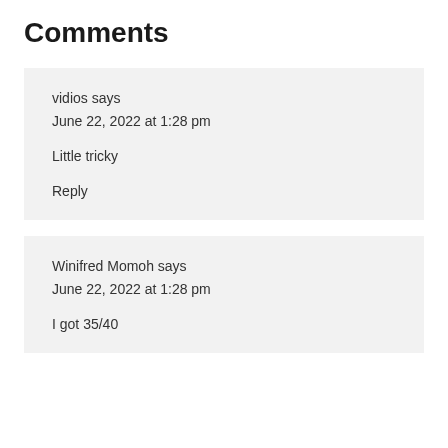Comments
vidios says
June 22, 2022 at 1:28 pm

Little tricky

Reply
Winifred Momoh says
June 22, 2022 at 1:28 pm

I got 35/40